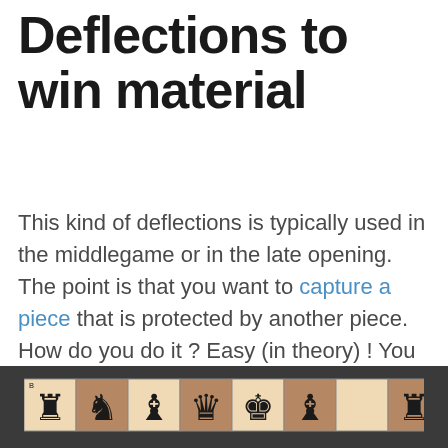Deflections to win material
This kind of deflections is typically used in the middlegame or in the late opening. The point is that you want to capture a piece that is protected by another piece. How do you do it ? Easy (in theory) ! You lure the protecting piece away and you capture the now-unprotected piece.
[Figure (illustration): Chess board strip showing chess pieces on alternating light and dark squares in a footer bar with dark background]